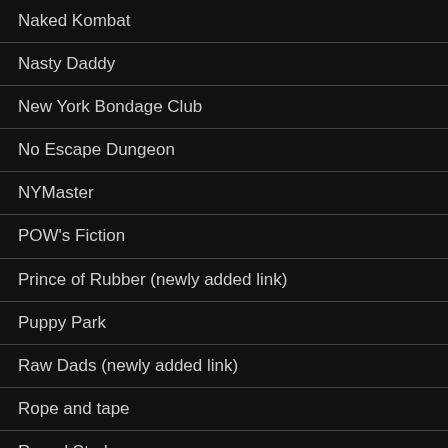Naked Kombat
Nasty Daddy
New York Bondage Club
No Escape Dungeon
NYMaster
POW's Fiction
Prince of Rubber (newly added link)
Puppy Park
Raw Dads (newly added link)
Rope and tape
Roped Studs
RubberZone
Ruff's Stuff